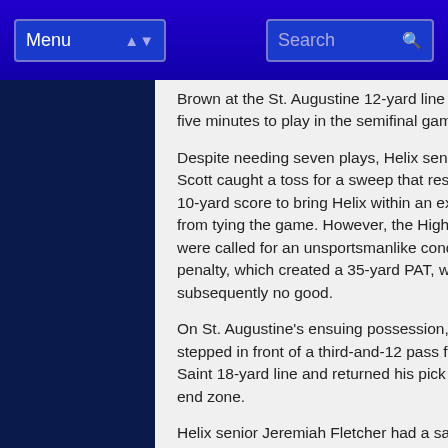Menu | Search
Brown at the St. Augustine 12-yard line with under five minutes to play in the semifinal game.
Despite needing seven plays, Helix senior Keionte Scott caught a toss for a sweep that resulted in a 10-yard score to bring Helix within an extra-point from tying the game. However, the Highlanders were called for an unsportsmanlike conduct penalty, which created a 35-yard PAT, which was subsequently no good.
On St. Augustine's ensuing possession, Stewart stepped in front of a third-and-12 pass from the Saint 18-yard line and returned his pick into the end zone.
Helix senior Jeremiah Fletcher had a sack and the Highlander defense held Saints to just 120